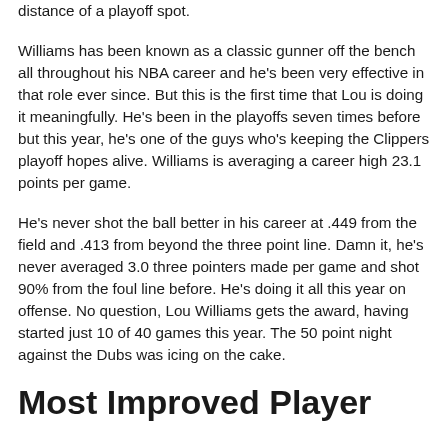distance of a playoff spot.
Williams has been known as a classic gunner off the bench all throughout his NBA career and he's been very effective in that role ever since. But this is the first time that Lou is doing it meaningfully. He's been in the playoffs seven times before but this year, he's one of the guys who's keeping the Clippers playoff hopes alive. Williams is averaging a career high 23.1 points per game.
He's never shot the ball better in his career at .449 from the field and .413 from beyond the three point line. Damn it, he's never averaged 3.0 three pointers made per game and shot 90% from the foul line before. He's doing it all this year on offense. No question, Lou Williams gets the award, having started just 10 of 40 games this year. The 50 point night against the Dubs was icing on the cake.
Most Improved Player